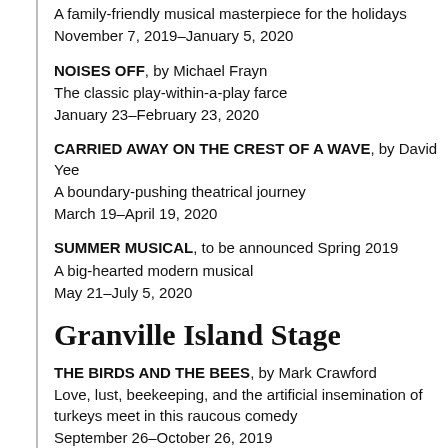A family-friendly musical masterpiece for the holidays
November 7, 2019–January 5, 2020
NOISES OFF, by Michael Frayn
The classic play-within-a-play farce
January 23–February 23, 2020
CARRIED AWAY ON THE CREST OF A WAVE, by David Yee
A boundary-pushing theatrical journey
March 19–April 19, 2020
SUMMER MUSICAL, to be announced Spring 2019
A big-hearted modern musical
May 21–July 5, 2020
Granville Island Stage
THE BIRDS AND THE BEES, by Mark Crawford
Love, lust, beekeeping, and the artificial insemination of turkeys meet in this raucous comedy
September 26–October 26, 2019